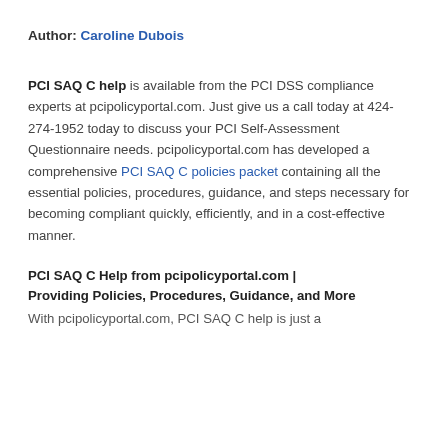Author: Caroline Dubois
PCI SAQ C help is available from the PCI DSS compliance experts at pcipolicyportal.com. Just give us a call today at 424-274-1952 today to discuss your PCI Self-Assessment Questionnaire needs. pcipolicyportal.com has developed a comprehensive PCI SAQ C policies packet containing all the essential policies, procedures, guidance, and steps necessary for becoming compliant quickly, efficiently, and in a cost-effective manner.
PCI SAQ C Help from pcipolicyportal.com | Providing Policies, Procedures, Guidance, and More
With pcipolicyportal.com, PCI SAQ C help is just a